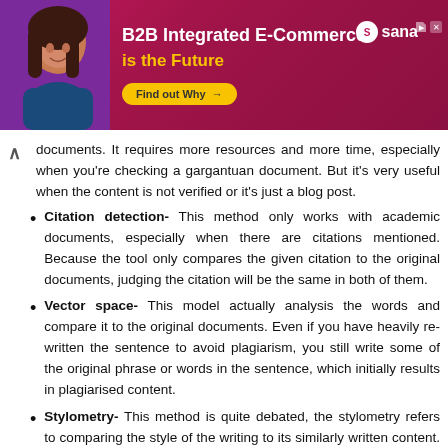[Figure (illustration): Advertisement banner for Sana B2B Integrated E-Commerce. Red/magenta gradient background with a woman's portrait on the left, bold white and yellow text reading 'B2B Integrated E-Commerce is the Future', a yellow 'Find out Why →' button, and the Sana logo top right.]
documents. It requires more resources and more time, especially when you're checking a gargantuan document. But it's very useful when the content is not verified or it's just a blog post.
Citation detection- This method only works with academic documents, especially when there are citations mentioned. Because the tool only compares the given citation to the original documents, judging the citation will be the same in both of them.
Vector space- This model actually analysis the words and compare it to the original documents. Even if you have heavily re-written the sentence to avoid plagiarism, you still write some of the original phrase or words in the sentence, which initially results in plagiarised content.
Stylometry- This method is quite debated, the stylometry refers to comparing the style of the writing to its similarly written content. It tried to detect the person's unique writing style and compare it to others. Quite unique but also sometimes arguable.